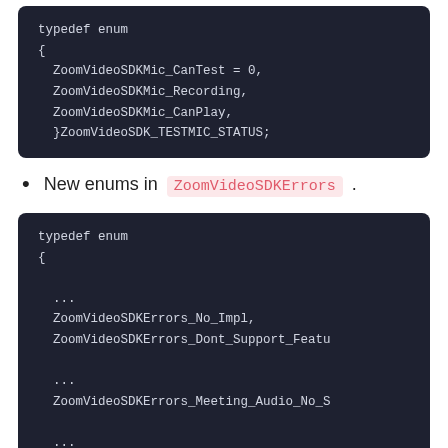[Figure (screenshot): Dark-themed code block showing a typedef enum for ZoomVideoSDK_TESTMIC_STATUS with values ZoomVideoSDKMic_CanTest = 0, ZoomVideoSDKMic_Recording, ZoomVideoSDKMic_CanPlay]
New enums in ZoomVideoSDKErrors .
[Figure (screenshot): Dark-themed code block showing a typedef enum with ZoomVideoSDKErrors_No_Impl, ZoomVideoSDKErrors_Dont_Support_Featu, ZoomVideoSDKErrors_Meeting_Audio_No_S, and ellipses]